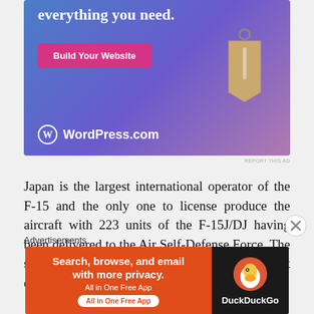[Figure (illustration): WordPress.com advertisement banner with blue-purple gradient background, white bold text 'everything you need.', pink 'Build Your Website' button, a hanging price tag illustration, and WordPress.com logo at bottom left]
Japan is the largest international operator of the F-15 and the only one to license produce the aircraft with 223 units of the F-15J/DJ having been delivered to the Air Self-Defense Force. The single seat version is the F-15J and the twin seat combat-
Advertisements
[Figure (illustration): DuckDuckGo advertisement banner: left side orange/red background with white text 'Search, browse, and email with more privacy. All in One Free App', right side dark background with DuckDuckGo duck logo and 'DuckDuckGo' text]